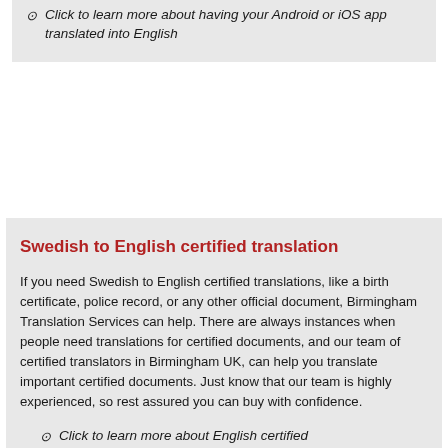Click to learn more about having your Android or iOS app translated into English
Swedish to English certified translation
If you need Swedish to English certified translations, like a birth certificate, police record, or any other official document, Birmingham Translation Services can help. There are always instances when people need translations for certified documents, and our team of certified translators in Birmingham UK, can help you translate important certified documents. Just know that our team is highly experienced, so rest assured you can buy with confidence.
Click to learn more about English certified